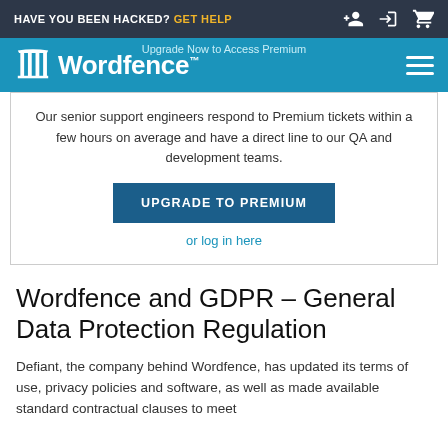HAVE YOU BEEN HACKED? GET HELP
[Figure (logo): Wordfence logo with text 'Wordfence' on teal navigation bar, with 'Upgrade Now to Access Premium' text above and hamburger menu icon on right]
Our senior support engineers respond to Premium tickets within a few hours on average and have a direct line to our QA and development teams.
UPGRADE TO PREMIUM
or log in here
Wordfence and GDPR – General Data Protection Regulation
Defiant, the company behind Wordfence, has updated its terms of use, privacy policies and software, as well as made available standard contractual clauses to meet